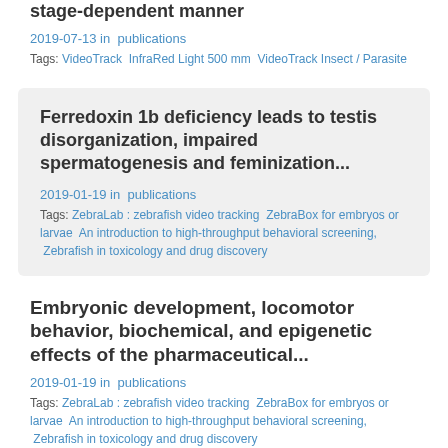stage-dependent manner
2019-07-13 in  publications
Tags: VideoTrack  InfraRed Light 500 mm  VideoTrack Insect / Parasite
Ferredoxin 1b deficiency leads to testis disorganization, impaired spermatogenesis and feminization...
2019-01-19 in  publications
Tags: ZebraLab : zebrafish video tracking  ZebraBox for embryos or larvae  An introduction to high-throughput behavioral screening,  Zebrafish in toxicology and drug discovery
Embryonic development, locomotor behavior, biochemical, and epigenetic effects of the pharmaceutical...
2019-01-19 in  publications
Tags: ZebraLab : zebrafish video tracking  ZebraBox for embryos or larvae  An introduction to high-throughput behavioral screening,  Zebrafish in toxicology and drug discovery